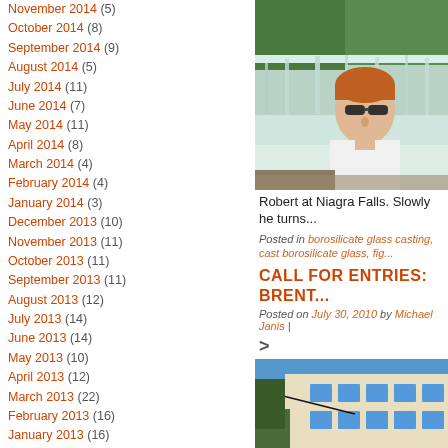November 2014 (5)
October 2014 (8)
September 2014 (9)
August 2014 (5)
July 2014 (11)
June 2014 (7)
May 2014 (11)
April 2014 (8)
March 2014 (4)
February 2014 (4)
January 2014 (3)
December 2013 (10)
November 2013 (11)
October 2013 (11)
September 2013 (11)
August 2013 (12)
July 2013 (14)
June 2013 (14)
May 2013 (10)
April 2013 (12)
March 2013 (22)
February 2013 (16)
January 2013 (16)
December 2012 (9)
November 2012 (8)
October 2012 (13)
September 2012 (12)
[Figure (photo): Robert at Niagara Falls - man with sunglasses in front of waterfall]
Robert at Niagra Falls. Slowly he turns...
Posted in borosilicate glass casting, cast borosilicate glass, fig...
CALL FOR ENTRIES: BRENT...
Posted on July 30, 2010 by Michael Janis |
>
[Figure (photo): Modern building with blue windows against blue sky]